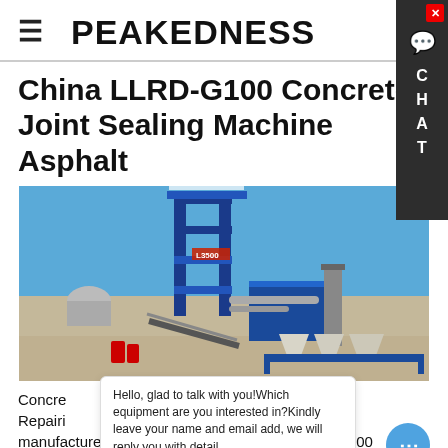≡  PEAKEDNESS
China LLRD-G100 Concrete Joint Sealing Machine Asphalt
[Figure (photo): Industrial asphalt plant / concrete joint sealing machine facility with large blue steel structure, conveyor belts, silos, dust collector, and storage tanks, photographed outdoors under a blue sky.]
Concrete Joint Sealing Machine Asphalt Repairing manufacturer / supplier in China, offering LLRD-G100
Hello, glad to talk with you!Which equipment are you interested in?Kindly leave your name and email add, we will reply you with detail